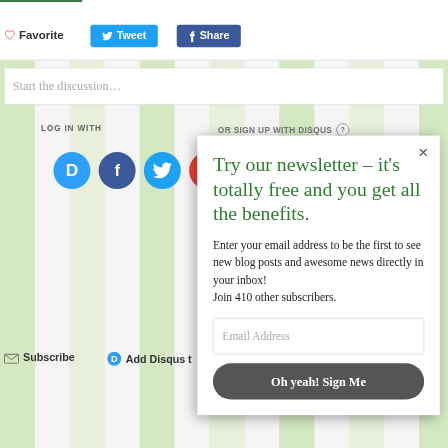[Figure (screenshot): Web page background with green and white vertical stripes, partial social sharing buttons (Favorite, Tweet, Share), Disqus comment section with login icons, and a newsletter signup popup overlay.]
♡ Favorite
Tweet
Share
Start the discussion…
LOG IN WITH
OR SIGN UP WITH DISQUS ?
Subscribe
Add Disqus t
Try our newsletter – it's totally free and you get all the benefits.
Enter your email address to be the first to see new blog posts and awesome news directly in your inbox!
Join 410 other subscribers.
Email Address
Oh yeah! Sign Me